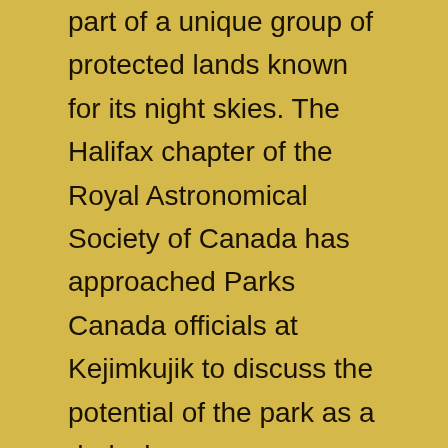part of a unique group of protected lands known for its night skies. The Halifax chapter of the Royal Astronomical Society of Canada has approached Parks Canada officials at Kejimkujik to discuss the potential of the park as a dark sky preserve. Jonathan Sheppard, a Parks Canada official with Kejimkujik, said the society's goals to protect the night sky and educate people about it are shared by the park. 'With a dark sky preserve, we're protecting not only the night sky for viewing but we're also protecting nocturnal ecology,' he said.
'Giving the night back to things like bats and birds and salamanders and insects. There's a good fit there.' According to the Royal Astronomical Society of Canada, a dark sky preserve is a site with 'very dark